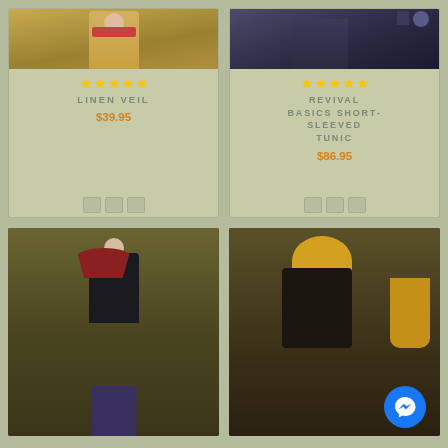[Figure (photo): Linen veil costume product listing card with yellow robe image, 5-star rating, name and price]
[Figure (photo): Revival Basics Short-Sleeved Tunic product listing card with dark costume image, 5-star rating, name and price]
[Figure (photo): Man wearing dark medieval costume with red cape and purple underdress]
[Figure (photo): Person wearing yellow head covering and dark robe, side profile view]